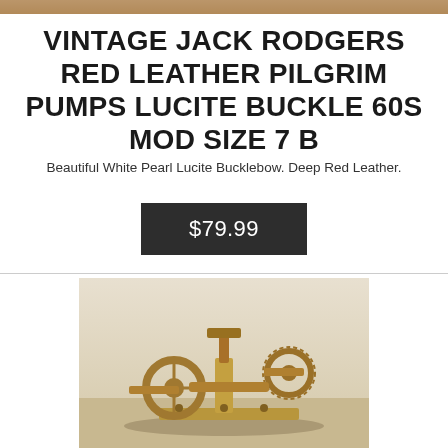[Figure (photo): Top partial view of a vintage shoe or similar leather item, cropped at top of page]
VINTAGE JACK RODGERS RED LEATHER PILGRIM PUMPS LUCITE BUCKLE 60S MOD SIZE 7 B
Beautiful White Pearl Lucite Bucklebow. Deep Red Leather.
$79.99
[Figure (photo): A vintage wooden mechanical device or tool, possibly a shoe last or leather working tool, photographed against a light background]